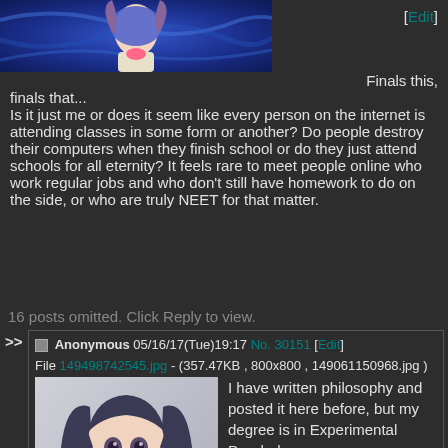[Figure (illustration): Anime-style character with blue/purple hair wearing a light-colored outfit with a pink collar, against a blue swirling background]
[Edit]
Finals this, finals that...
Is it just me or does it seem like every person on the internet is attending classes in some form or another? Do people destroy their computers when they finish school or do they just attend schools for all eternity? It feels rare to meet people online who work regular jobs and who don't still have homework to do on the side, or who are truly NEET for that matter.
16 posts omitted. Click Reply to view.
Anonymous 05/16/17(Tue)19:17 No. 30151 [Edit]
File 149498742545.jpg - (357.47KB , 800x800 , 149061150968.jpg )
[Figure (illustration): Anime-style girl with long dark blue/gray hair wearing a dark school uniform, hand near her chin in a thoughtful pose]
I have written philosophy and posted it here before, but my degree is in Experimental Psychology.

I won't lie, higher